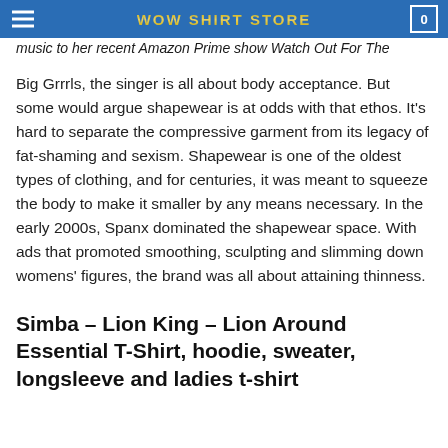WOW SHIRT STORE
music to her recent Amazon Prime show Watch Out For The Big Grrrls, the singer is all about body acceptance. But some would argue shapewear is at odds with that ethos. It’s hard to separate the compressive garment from its legacy of fat-shaming and sexism. Shapewear is one of the oldest types of clothing, and for centuries, it was meant to squeeze the body to make it smaller by any means necessary. In the early 2000s, Spanx dominated the shapewear space. With ads that promoted smoothing, sculpting and slimming down womens’ figures, the brand was all about attaining thinness.
Simba – Lion King – Lion Around Essential T-Shirt, hoodie, sweater, longsleeve and ladies t-shirt